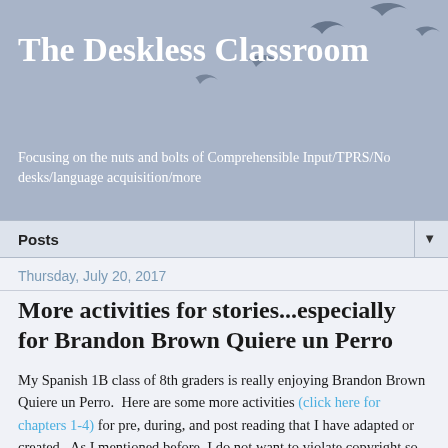The Deskless Classroom
Focusing on the nuts and bolts of Comprehensible Input/TPRS/No desks/language acquisition/more
Posts
Thursday, July 20, 2017
More activities for stories...especially for Brandon Brown Quiere un Perro
My Spanish 1B class of 8th graders is really enjoying Brandon Brown Quiere un Perro.  Here are some more activities (click here for chapters 1-4) for pre, during, and post reading that I have adapted or created.  As I mentioned before, I do not want to violate copyright so some of these activities I can not share, but if you own the teacher's guide, you could make them too!